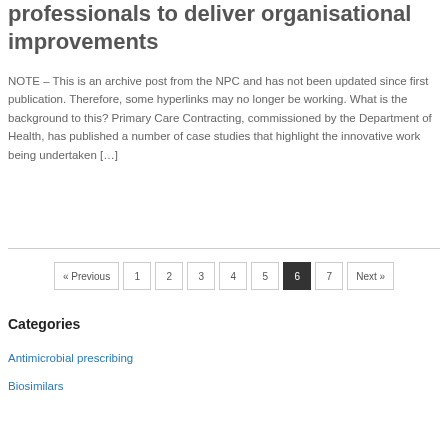professionals to deliver organisational improvements
NOTE – This is an archive post from the NPC and has not been updated since first publication. Therefore, some hyperlinks may no longer be working. What is the background to this? Primary Care Contracting, commissioned by the Department of Health, has published a number of case studies that highlight the innovative work being undertaken […]
« Previous  1  2  3  4  5  6  7  Next »
Categories
Antimicrobial prescribing
Biosimilars